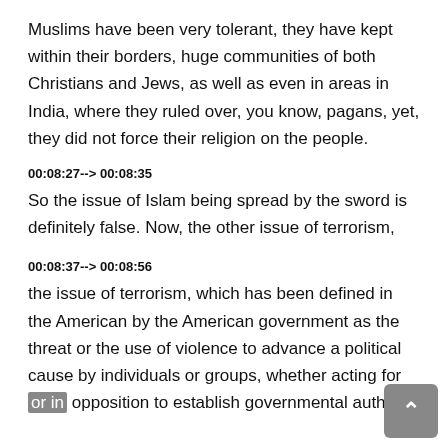Muslims have been very tolerant, they have kept within their borders, huge communities of both Christians and Jews, as well as even in areas in India, where they ruled over, you know, pagans, yet, they did not force their religion on the people.
00:08:27--> 00:08:35
So the issue of Islam being spread by the sword is definitely false. Now, the other issue of terrorism,
00:08:37--> 00:08:56
the issue of terrorism, which has been defined in the American by the American government as the threat or the use of violence to advance a political cause by individuals or groups, whether acting for or in opposition to establish governmental authority